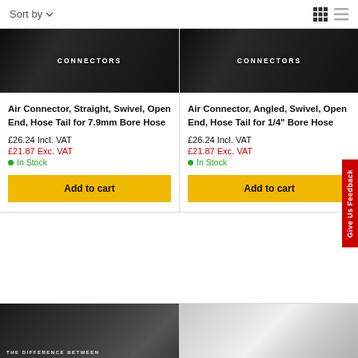Sort by
[Figure (screenshot): Air connector product image with CONNECTORS label on dark background (left card, top row)]
Air Connector, Straight, Swivel, Open End, Hose Tail for 7.9mm Bore Hose
£26.24 Incl. VAT
£21.87 Exc. VAT
● In Stock
Add to cart
[Figure (screenshot): Air connector product image with CONNECTORS label on dark background (right card, top row)]
Air Connector, Angled, Swivel, Open End, Hose Tail for 1/4" Bore Hose
£26.24 Incl. VAT
£21.87 Exc. VAT
● In Stock
Add to cart
[Figure (screenshot): Partial product image visible at bottom left - person in dark clothing, THE DIFFERENCE BETWEEN text]
[Figure (screenshot): Partial product image visible at bottom right - metallic/chrome object]